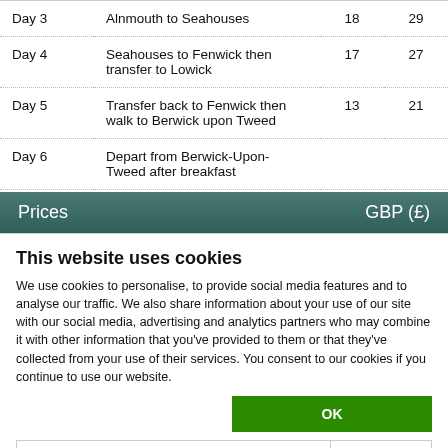|  |  |  |  |
| --- | --- | --- | --- |
| Day 3 | Alnmouth to Seahouses | 18 | 29 |
| Day 4 | Seahouses to Fenwick then transfer to Lowick | 17 | 27 |
| Day 5 | Transfer back to Fenwick then walk to Berwick upon Tweed | 13 | 21 |
| Day 6 | Depart from Berwick-Upon-Tweed after breakfast |  |  |
Prices  GBP (£)
This website uses cookies
We use cookies to personalise, to provide social media features and to analyse our traffic. We also share information about your use of our site with our social media, advertising and analytics partners who may combine it with other information that you've provided to them or that they've collected from your use of their services. You consent to our cookies if you continue to use our website.
OK
Necessary  Preferences  Statistics  Marketing  Show details